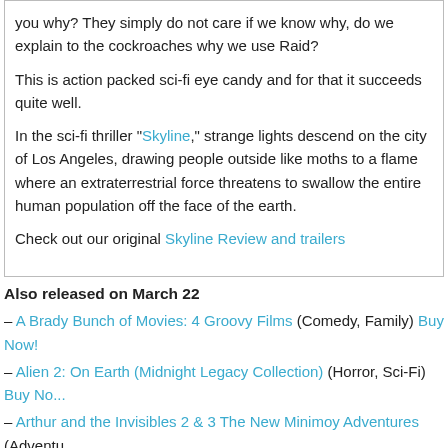you why? They simply do not care if we know why, do we explain to the cockroaches why we use Raid?
This is action packed sci-fi eye candy and for that it succeeds quite well.
In the sci-fi thriller "Skyline," strange lights descend on the city of Los Angeles, drawing people outside like moths to a flame where an extraterrestrial force threatens to swallow the entire human population off the face of the earth.
Check out our original Skyline Review and trailers
Also released on March 22
– A Brady Bunch of Movies: 4 Groovy Films (Comedy, Family) Buy Now!
– Alien 2: On Earth (Midnight Legacy Collection) (Horror, Sci-Fi) Buy Now!
– Arthur and the Invisibles 2 & 3 The New Minimoy Adventures (Adventure...) Buy Now!
– The Associate (L'associé) (Comedy) Buy Now!
– Batman 3-Pack Fun (Action, Animation) Buy Now!
– The Big I Am (Crime, Drama, Thriller) Buy Now!